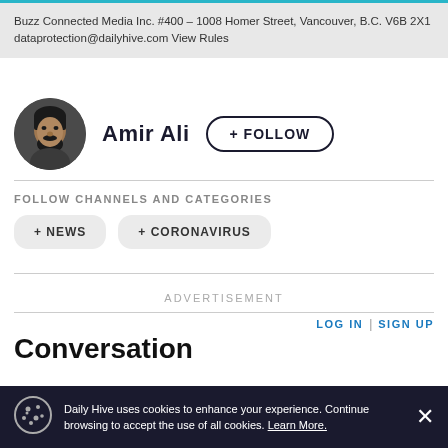Buzz Connected Media Inc. #400 – 1008 Homer Street, Vancouver, B.C. V6B 2X1 dataprotection@dailyhive.com View Rules
[Figure (photo): Circular avatar photo of Amir Ali, a man with a beard, shown from shoulders up against a dark background]
Amir Ali
+ FOLLOW
FOLLOW CHANNELS AND CATEGORIES
+ NEWS
+ CORONAVIRUS
ADVERTISEMENT
LOG IN
SIGN UP
Conversation
Daily Hive uses cookies to enhance your experience. Continue browsing to accept the use of all cookies. Learn More.